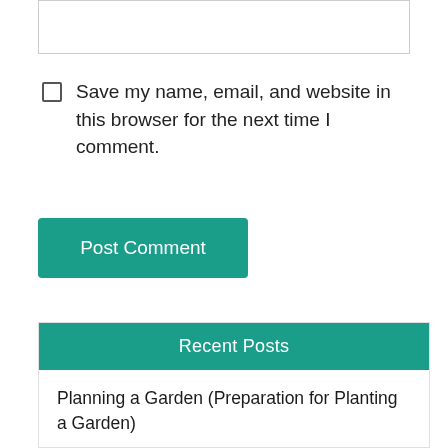[Figure (screenshot): Top portion of a text input box, partially cropped]
Save my name, email, and website in this browser for the next time I comment.
[Figure (screenshot): Post Comment button — teal/green rectangle with white text]
Recent Posts
Planning a Garden (Preparation for Planting a Garden)
Making and Writing Cards (Or Valentines, or Letters...)